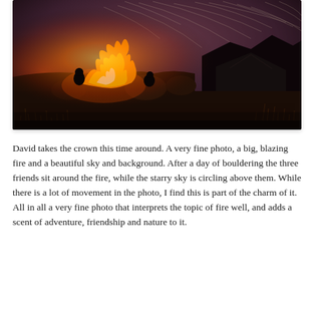[Figure (photo): Nighttime campfire scene with three friends sitting around a large blazing fire next to a tent, with star trails visible in a reddish-purple sky above rocky hills and wild grass.]
David takes the crown this time around. A very fine photo, a big, blazing fire and a beautiful sky and background. After a day of bouldering the three friends sit around the fire, while the starry sky is circling above them. While there is a lot of movement in the photo, I find this is part of the charm of it. All in all a very fine photo that interprets the topic of fire well, and adds a scent of adventure, friendship and nature to it.